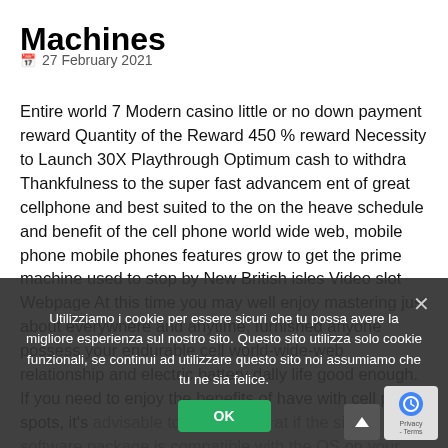Machines
📅 27 February 2021
Entire world 7 Modern casino little or no down payment reward Quantity of the Reward 450 % reward Necessity to Launch 30X Playthrough Optimum cash to withdra Thankfulness to the super fast advancem ent of great cellphone and best suited to the on the heave schedule and benefit of the cell phone world wide web, mobile phone mobile phones features grow to get the prime machine used to stop by New British isles Video slot Webpage At this time you may well enjoy mastering just about everywhere and anytime, furnished anyone possess your endurable cell world-wide-web relationship and electric battery dally life good enough. If you need to enjoy the benefits of have with cell phone spots, it's advisable to have a look at if the site's software package is compatible with the OS on your mobile.
If you look for shooters and aggressive too, arcades challenging too, rushing video games too fast-paced for rest and quest demanding, get a look at our amazing choice of free gambling establishment video poker machines models. At Slotozilla I…
Utilizziamo i cookie per essere sicuri che tu possa avere la migliore esperienza sul nostro sito. Questo sito utilizza solo cookie funzionali, se continui ad utilizzare questo sito noi assumiamo che tu ne sia felice.